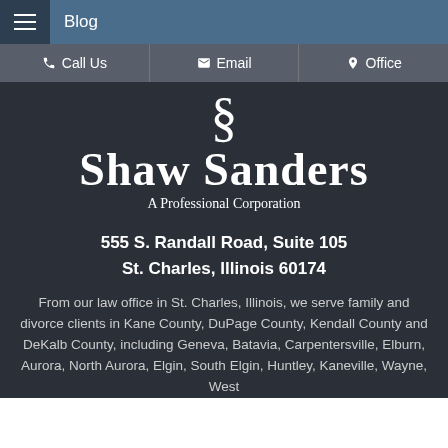Blog
Call Us  |  Email  |  Office
[Figure (logo): Shaw Sanders law firm logo with large section symbol (§) and firm name 'Shaw Sanders A Professional Corporation' in white serif font on dark background]
555 S. Randall Road, Suite 105
St. Charles, Illinois 60174
From our law office in St. Charles, Illinois, we serve family and divorce clients in Kane County, DuPage County, Kendall County and DeKalb County, including Geneva, Batavia, Carpentersville, Elburn, Aurora, North Aurora, Elgin, South Elgin, Huntley, Kaneville, Wayne, West